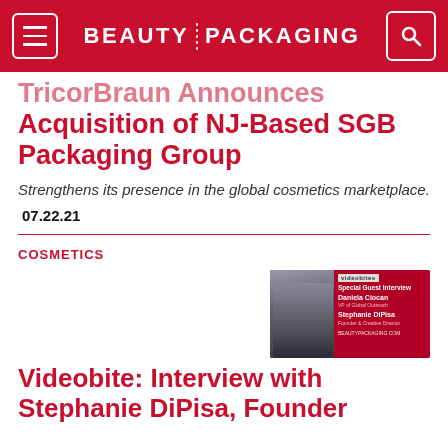BEAUTY PACKAGING
TricorBraun Announces Acquisition of NJ-Based SGB Packaging Group
Strengthens its presence in the global cosmetics marketplace.
07.22.21
COSMETICS
[Figure (screenshot): Videobites special guest interview thumbnail featuring Daniela Ciocan and Stephanie DiPisa]
Videobite: Interview with Stephanie DiPisa, Founder